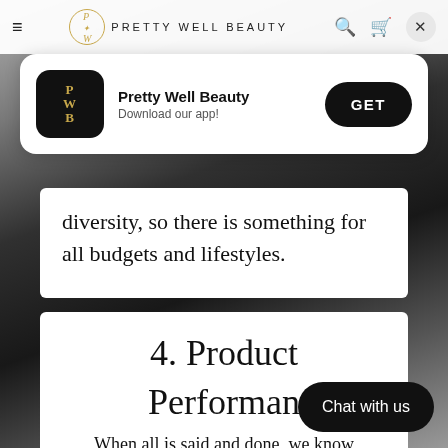PRETTY WELL BEAUTY
[Figure (screenshot): App download banner for Pretty Well Beauty with app icon, name, tagline 'Download our app!' and GET button]
diversity, so there is something for all budgets and lifestyles.
4. Product Performance
When all is said and done, we know